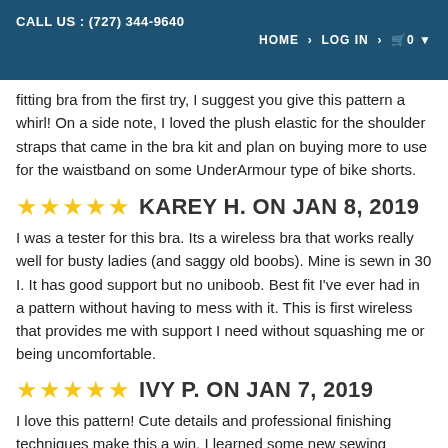CALL US : (727) 344-9640   HOME > LOG IN > 🛒 0
fitting bra from the first try, I suggest you give this pattern a whirl! On a side note, I loved the plush elastic for the shoulder straps that came in the bra kit and plan on buying more to use for the waistband on some UnderArmour type of bike shorts.
★★★★★ KAREY H. ON JAN 8, 2019
I was a tester for this bra. Its a wireless bra that works really well for busty ladies (and saggy old boobs). Mine is sewn in 30 I. It has good support but no uniboob. Best fit I've ever had in a pattern without having to mess with it. This is first wireless that provides me with support I need without squashing me or being uncomfortable.
★★★★★ IVY P. ON JAN 7, 2019
I love this pattern! Cute details and professional finishing techniques make this a win. I learned some new sewing